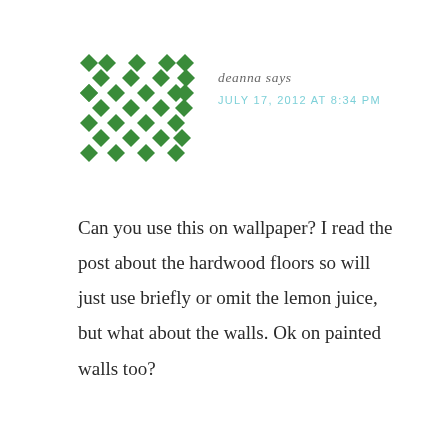[Figure (illustration): Green geometric diamond/checkerboard pattern avatar icon used as a blog comment avatar]
deanna says
JULY 17, 2012 AT 8:34 PM
Can you use this on wallpaper? I read the post about the hardwood floors so will just use briefly or omit the lemon juice, but what about the walls. Ok on painted walls too?